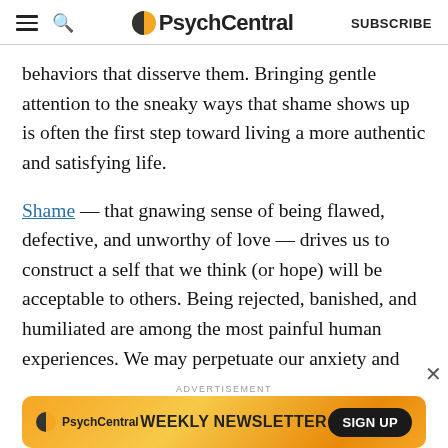PsychCentral — SUBSCRIBE
behaviors that disserve them. Bringing gentle attention to the sneaky ways that shame shows up is often the first step toward living a more authentic and satisfying life.
Shame — that gnawing sense of being flawed, defective, and unworthy of love — drives us to construct a self that we think (or hope) will be acceptable to others. Being rejected, banished, and humiliated are among the most painful human experiences. We may perpetuate our anxiety and exhaust ourselves trying to use our intelligence to figure out who we need to be in order to win the
[Figure (screenshot): PsychCentral weekly newsletter advertisement banner with orange/gold gradient background, PsychCentral logo, 'WEEKLY NEWSLETTER' text, and 'SIGN UP' button]